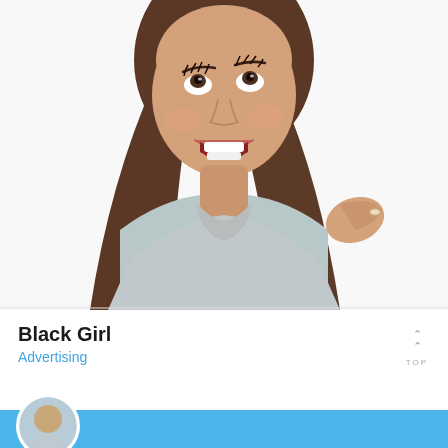[Figure (photo): A laughing woman with long dark brown hair wearing a light grey top, looking upward with a wide open smile, hand raised near chest, white background, advertising/stock photo style]
Black Girl
Advertising